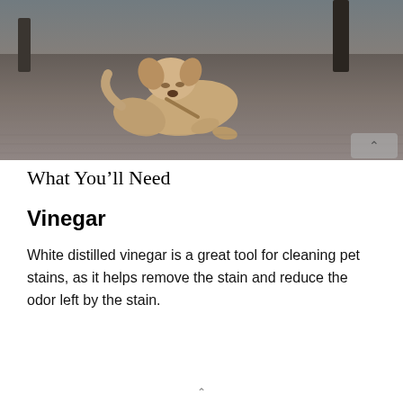[Figure (photo): A small puppy lying on a grey carpet, chewing on something, photographed from a low angle with furniture visible in the background.]
What You'll Need
Vinegar
White distilled vinegar is a great tool for cleaning pet stains, as it helps remove the stain and reduce the odor left by the stain.
^